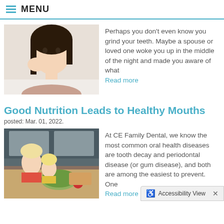MENU
[Figure (photo): Young woman holding her cheek in pain, dental pain concept]
Perhaps you don't even know you grind your teeth. Maybe a spouse or loved one woke you up in the middle of the night and made you aware of what Read more
Good Nutrition Leads to Healthy Mouths
posted: Mar. 01, 2022.
[Figure (photo): Mother and daughter in kitchen preparing a healthy salad with vegetables]
At CE Family Dental, we know the most common oral health diseases are tooth decay and periodontal disease (or gum disease), and both are among the easiest to prevent. One Read more